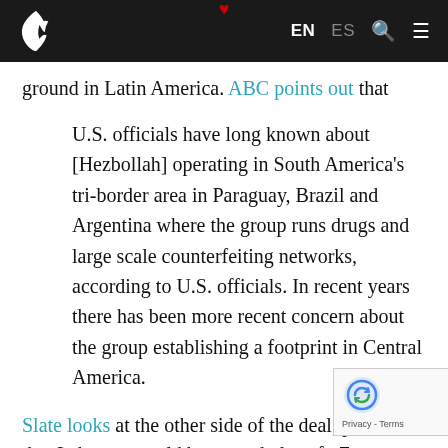EN  ES
ground in Latin America. ABC points out that
U.S. officials have long known about [Hezbollah] operating in South America's tri-border area in Paraguay, Brazil and Argentina where the group runs drugs and large scale counterfeiting networks, according to U.S. officials. In recent years there has been more recent concern about the group establishing a footprint in Central America.
Slate looks at the other side of the deal, po… out that Lebanon would be a good place fo… Zetas to launder money, as it has highly